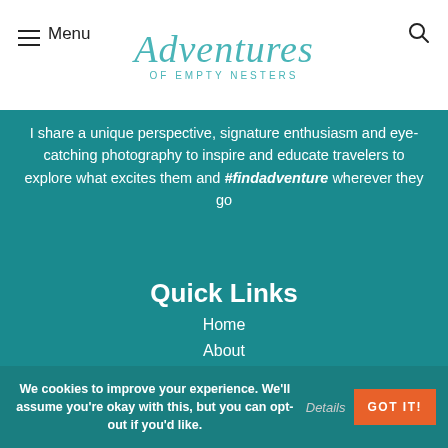Adventures of Empty Nesters
I share a unique perspective, signature enthusiasm and eye-catching photography to inspire and educate travelers to explore what excites them and #findadventure wherever they go
Quick Links
Home
About
Blog
Press
We cookies to improve your experience. We'll assume you're okay with this, but you can opt-out if you'd like. Details GOT IT!